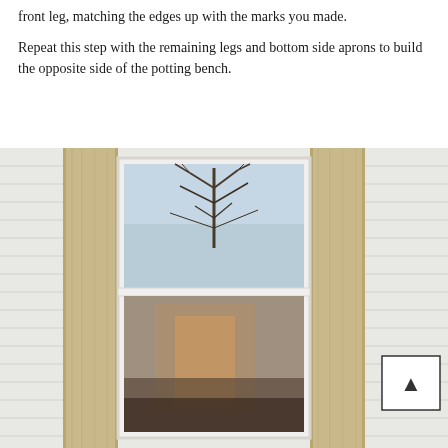front leg, matching the edges up with the marks you made.
Repeat this step with the remaining legs and bottom side aprons to build the opposite side of the potting bench.
[Figure (photo): Photograph of two wooden boards (bench legs) leaning against a white vinyl-sided house wall, flanking a double-hung window that reflects bare winter trees and sky. A scroll-up button overlay appears in the lower right corner.]